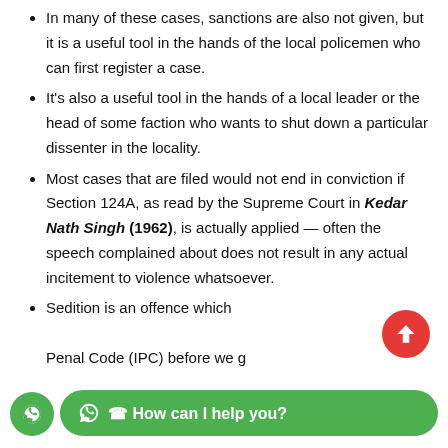In many of these cases, sanctions are also not given, but it is a useful tool in the hands of the local policemen who can first register a case.
It's also a useful tool in the hands of a local leader or the head of some faction who wants to shut down a particular dissenter in the locality.
Most cases that are filed would not end in conviction if Section 124A, as read by the Supreme Court in Kedar Nath Singh (1962), is actually applied — often the speech complained about does not result in any actual incitement to violence whatsoever.
Sedition is an offence which ... Penal Code (IPC) before we g...